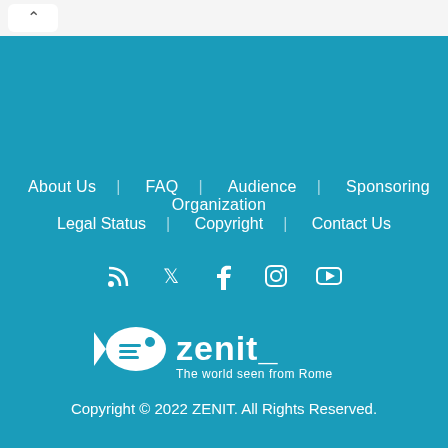^
About Us | FAQ | Audience | Sponsoring Organization
Legal Status | Copyright | Contact Us
[Figure (logo): Social media icons: RSS, Twitter, Facebook, Instagram, YouTube]
[Figure (logo): Zenit logo with fish icon and tagline 'The world seen from Rome']
Copyright © 2022 ZENIT. All Rights Reserved.